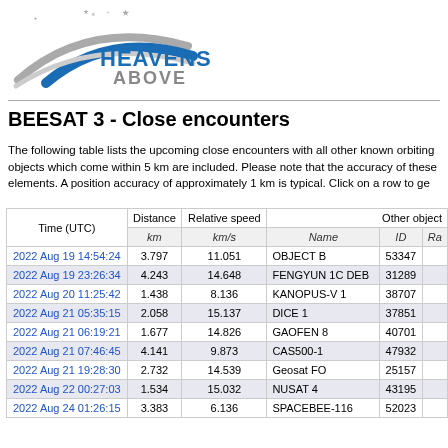[Figure (logo): Heavens Above logo with arc and stars]
BEESAT 3 - Close encounters
The following table lists the upcoming close encounters with all other known orbiting objects which come within 5 km are included. Please note that the accuracy of these elements. A position accuracy of approximately 1 km is typical. Click on a row to ge
| Time (UTC) | Distance km | Relative speed km/s | Name | ID | Ra |
| --- | --- | --- | --- | --- | --- |
| 2022 Aug 19 14:54:24 | 3.797 | 11.051 | OBJECT B | 53347 |  |
| 2022 Aug 19 23:26:34 | 4.243 | 14.648 | FENGYUN 1C DEB | 31289 |  |
| 2022 Aug 20 11:25:42 | 1.438 | 8.136 | KANOPUS-V 1 | 38707 |  |
| 2022 Aug 21 05:35:15 | 2.058 | 15.137 | DICE 1 | 37851 |  |
| 2022 Aug 21 06:19:21 | 1.677 | 14.826 | GAOFEN 8 | 40701 |  |
| 2022 Aug 21 07:46:45 | 4.141 | 9.873 | CAS500-1 | 47932 |  |
| 2022 Aug 21 19:28:30 | 2.732 | 14.539 | Geosat FO | 25157 |  |
| 2022 Aug 22 00:27:03 | 1.534 | 15.032 | NUSAT 4 | 43195 |  |
| 2022 Aug 24 01:26:15 | 3.383 | 6.136 | SPACEBEE-116 | 52023 |  |